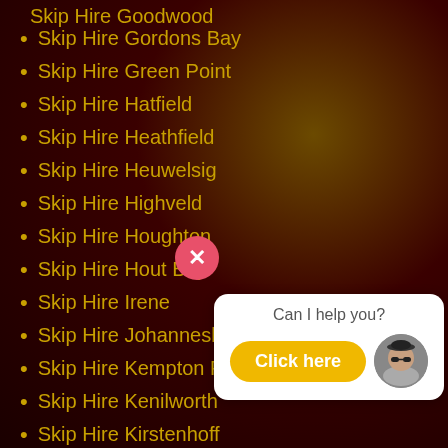Skip Hire Goodwood
Skip Hire Gordons Bay
Skip Hire Green Point
Skip Hire Hatfield
Skip Hire Heathfield
Skip Hire Heuwelsig
Skip Hire Highveld
Skip Hire Houghton
Skip Hire Hout Bay
Skip Hire Irene
Skip Hire Johannesburg
Skip Hire Kempton Park
Skip Hire Kenilworth
Skip Hire Kirstenhoff
Skip Hire Klerksdorp
Skip Hire Kloofsig
Skip Hire Kraaifontein
Skip Hire Krugersdorp
Skip Hire Kuils River
[Figure (screenshot): Chat popup widget with 'Can I help you?' text and 'Click here' yellow button with avatar, and a pink close (X) button]